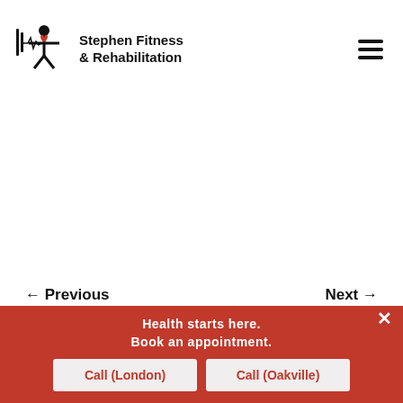[Figure (logo): Stephen Fitness & Rehabilitation logo with a heart rate monitor icon and a person figure, alongside the text 'Stephen Fitness & Rehabilitation']
[Figure (other): Hamburger menu icon (three horizontal lines) in the top right corner]
← Previous
Next →
All Blog Posts
[Figure (photo): Dark section at the bottom with a white circle icon and partial text, cut off]
Health starts here.
Book an appointment.
Call (London)
Call (Oakville)